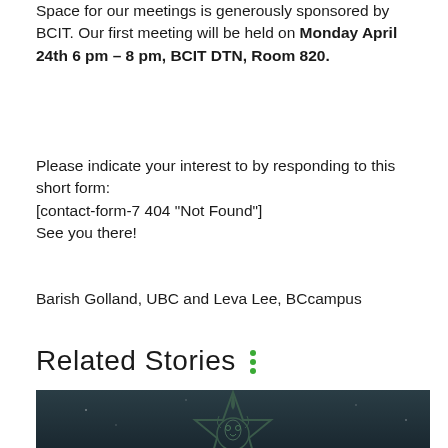Space for our meetings is generously sponsored by BCIT. Our first meeting will be held on Monday April 24th 6 pm – 8 pm, BCIT DTN, Room 820.
Please indicate your interest to by responding to this short form:
[contact-form-7 404 "Not Found"]
See you there!
Barish Golland, UBC and Leva Lee, BCcampus
Related Stories
[Figure (photo): Dark background image showing a stylized star with indigenous art design (bear or animal face inside), partially visible at the bottom of the page.]